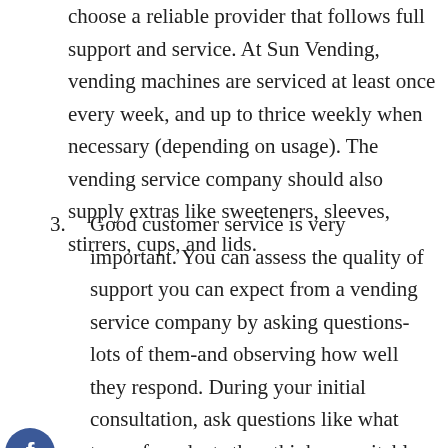choose a reliable provider that follows full support and service. At Sun Vending, vending machines are serviced at least once every week, and up to thrice weekly when necessary (depending on usage). The vending service company should also supply extras like sweeteners, sleeves, stirrers, cups, and lids.
3. Good customer service is very important. You can assess the quality of support you can expect from a vending service company by asking questions-lots of them-and observing how well they respond. During your initial consultation, ask questions like what type of products they think are suitable for your workspace, what payment options they offer, and what sets their company apart from other vending machine providers. Sign up with a vendor who is willing to answer all of your questions patiently. This shows that they care enough to give